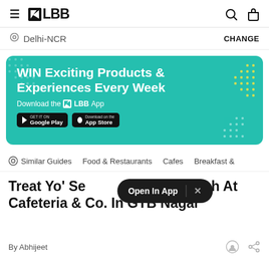≡ LBB [search icon] [bag icon]
Delhi-NCR   CHANGE
[Figure (infographic): Teal banner advertisement for LBB app: 'WIN Exciting Products & Experiences Every Week. Download the LBB App' with Google Play and App Store download buttons, decorative dot patterns in corners.]
Similar Guides   Food & Restaurants   Cafes   Breakfast &
Treat Yo' Self To Sunday Brunch At Cafeteria & Co. In GTB Nagar
Open In App  ×
By Abhijeet